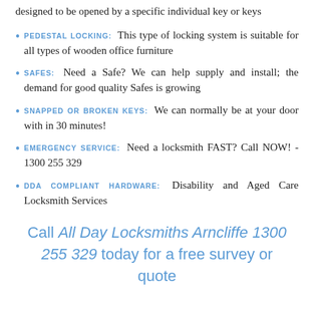designed to be opened by a specific individual key or keys
PEDESTAL LOCKING: This type of locking system is suitable for all types of wooden office furniture
SAFES: Need a Safe? We can help supply and install; the demand for good quality Safes is growing
SNAPPED OR BROKEN KEYS: We can normally be at your door with in 30 minutes!
EMERGENCY SERVICE: Need a locksmith FAST? Call NOW! - 1300 255 329
DDA COMPLIANT HARDWARE: Disability and Aged Care Locksmith Services
Call All Day Locksmiths Arncliffe 1300 255 329 today for a free survey or quote